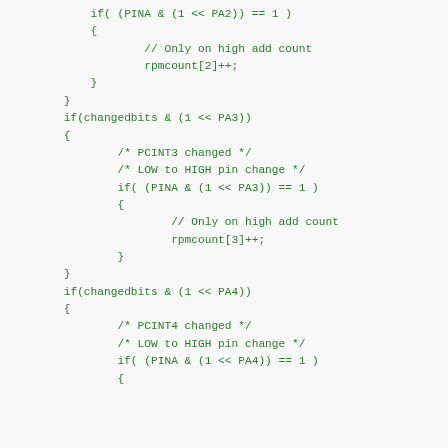Code snippet showing AVR pin change interrupt handler with PCINT2, PCINT3, and PCINT4 changed detection blocks, checking PINA bits and incrementing rpmcount arrays.